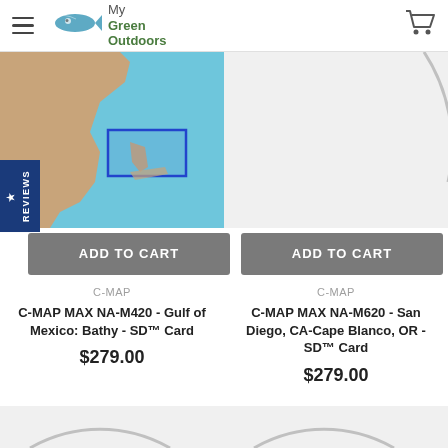MyGreen Outdoors - navigation header with logo and cart
[Figure (screenshot): Map of Gulf of Mexico region with blue rectangle highlighting Florida/Gulf area, shown on aqua/tan background]
[Figure (photo): Partial grey circular product image on right side]
ADD TO CART
ADD TO CART
C-MAP
C-MAP
C-MAP MAX NA-M420 - Gulf of Mexico: Bathy - SD&trade; Card
C-MAP MAX NA-M620 - San Diego, CA-Cape Blanco, OR - SD&trade; Card
$279.00
$279.00
[Figure (photo): Partial grey circular product image bottom left]
[Figure (photo): Partial grey circular product image bottom right]